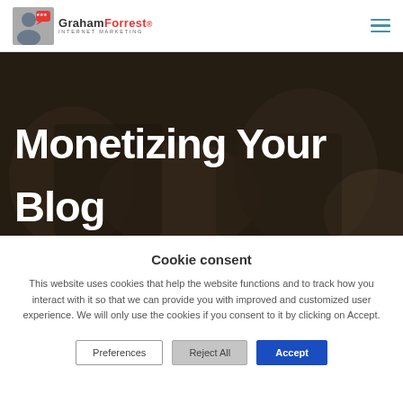GrahamForrest Internet Marketing — navigation header with hamburger menu
[Figure (photo): Hero banner image showing a dark background with person wearing jeans, overlaid with large white bold text 'Monetizing Your Blog']
Monetizing Your Blog
Cookie consent
This website uses cookies that help the website functions and to track how you interact with it so that we can provide you with improved and customized user experience. We will only use the cookies if you consent to it by clicking on Accept.
Preferences | Reject All | Accept